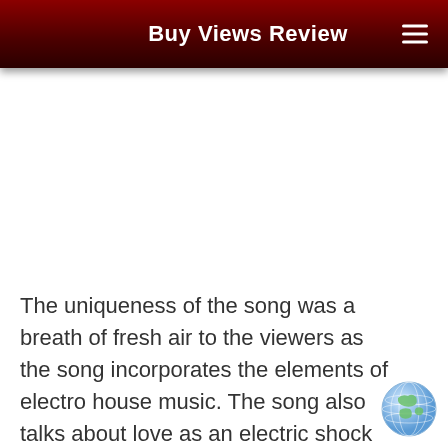Buy Views Review
The uniqueness of the song was a breath of fresh air to the viewers as the song incorporates the elements of electro house music. The song also talks about love as an electric shock